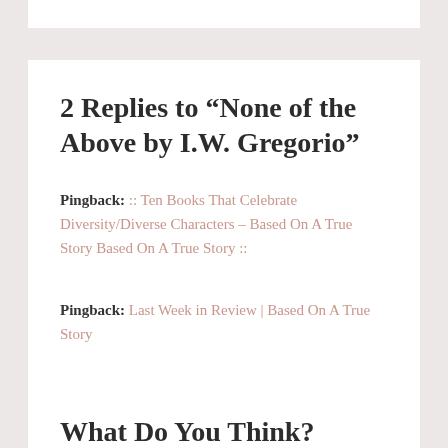2 Replies to “None of the Above by I.W. Gregorio”
Pingback: :: Ten Books That Celebrate Diversity/Diverse Characters – Based On A True Story Based On A True Story ::
Pingback: Last Week in Review | Based On A True Story
What Do You Think?